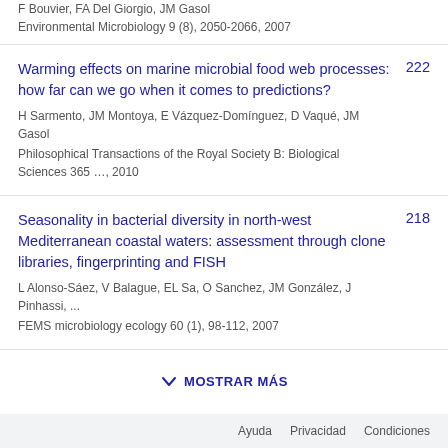F Bouvier, FA Del Giorgio, JM Gasol
Environmental Microbiology 9 (8), 2050-2066, 2007
Warming effects on marine microbial food web processes: how far can we go when it comes to predictions?
H Sarmento, JM Montoya, E Vázquez-Domínguez, D Vaqué, JM Gasol
Philosophical Transactions of the Royal Society B: Biological Sciences 365 …, 2010
222
Seasonality in bacterial diversity in north-west Mediterranean coastal waters: assessment through clone libraries, fingerprinting and FISH
L Alonso-Sáez, V Balague, EL Sa, O Sanchez, JM González, J Pinhassi, ...
FEMS microbiology ecology 60 (1), 98-112, 2007
218
MOSTRAR MÁS
Ayuda   Privacidad   Condiciones